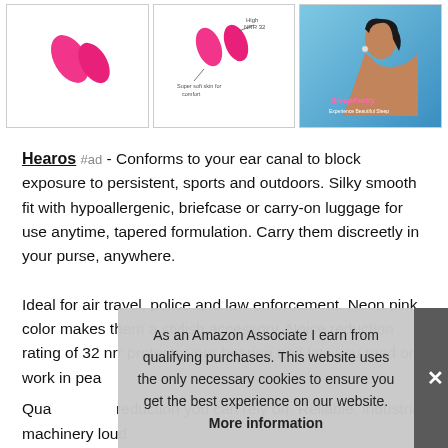[Figure (photo): Three product image thumbnails: pink ear plugs on left, pink ear plugs with annotations (Super soft skin for comfort, High NRR 32) in center, woman wearing ear plugs (SleepPretty brand) on right]
Hearos #ad - Conforms to your ear canal to block exposure to persistent, sports and outdoors. Silky smooth fit with hypoallergenic, briefcase or carry-on luggage for use anytime, tapered formulation. Carry them discreetly in your purse, anywhere.
Ideal for air travel, police and law enforcement. Neon pink color makes them a stylish accessory. Noise reduction rating of 32 nrr protects your hearing and lets you read or work in pea
As an Amazon Associate I earn from qualifying purchases. This website uses the only necessary cookies to ensure you get the best experience on our website. More information
Qua reduction you can rely on. Reliable, industrial machinery loud